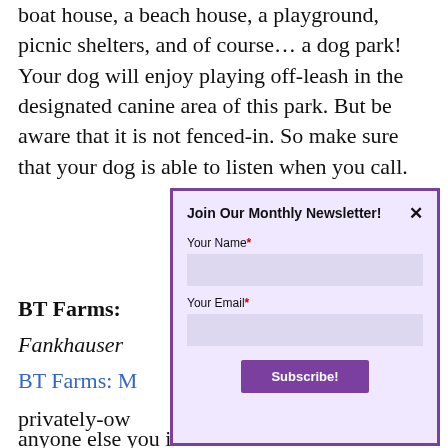boat house, a beach house, a playground, picnic shelters, and of course… a dog park! Your dog will enjoy playing off-leash in the designated canine area of this park. But be aware that it is not fenced-in. So make sure that your dog is able to listen when you call.
BT Farms:
Fankhauser
BT Farms: M
privately-ow
of Madison,
peaceful acr
that you'll re
and the enti
anyone else you invite.
[Figure (screenshot): Newsletter signup modal dialog with purple border on light purple background. Contains title 'Join Our Monthly Newsletter!', a close X button, fields for 'Your Name*' and 'Your Email*' each with a light purple input box, and a purple 'Subscribe!' button.]